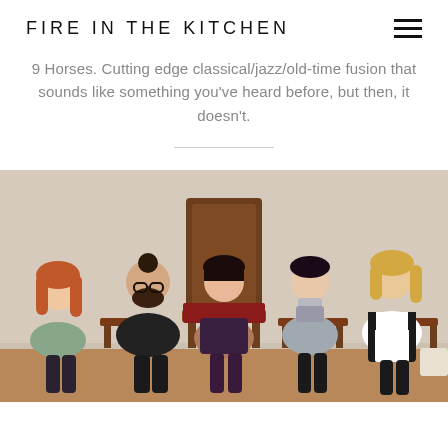FIRE IN THE KITCHEN
9 Horses. Cutting edge classical/jazz/old-time fusion that sounds like something you've heard before, but then, it doesn't.
[Figure (photo): Five young people seated in a row against a beige wall. From left: a woman with long red hair in a grey top, a bearded man in a black patterned shirt, a dark-haired woman in a patterned dress seated on an ornate throne-like chair in the center, a woman in a grey turtleneck, and a woman in a black pinafore over a white shirt. All seated on or near red velvet chairs.]